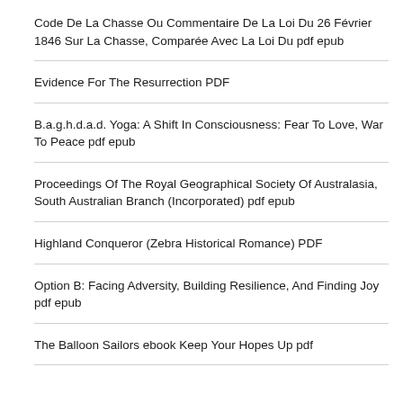Code De La Chasse Ou Commentaire De La Loi Du 26 Février 1846 Sur La Chasse, Comparée Avec La Loi Du pdf epub
Evidence For The Resurrection PDF
B.a.g.h.d.a.d. Yoga: A Shift In Consciousness: Fear To Love, War To Peace pdf epub
Proceedings Of The Royal Geographical Society Of Australasia, South Australian Branch (Incorporated) pdf epub
Highland Conqueror (Zebra Historical Romance) PDF
Option B: Facing Adversity, Building Resilience, And Finding Joy pdf epub
The Balloon Sailors ebook Keep Your Hopes Up pdf